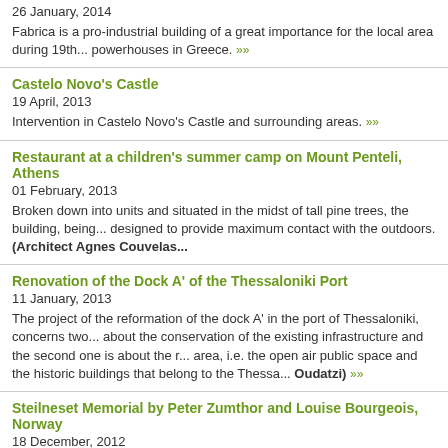26 January, 2014
Fabrica is a pro-industrial building of a great importance for the local area during 19th... powerhouses in Greece. ▶▶
Castelo Novo's Castle
19 April, 2013
Intervention in Castelo Novo's Castle and surrounding areas. ▶▶
Restaurant at a children's summer camp on Mount Penteli, Athens
01 February, 2013
Broken down into units and situated in the midst of tall pine trees, the building, being... designed to provide maximum contact with the outdoors. (Architect Agnes Couvelas...
Renovation of the Dock A' of the Thessaloniki Port
11 January, 2013
The project of the reformation of the dock A' in the port of Thessaloniki, concerns two... about the conservation of the existing infrastructure and the second one is about the r... area, i.e. the open air public space and the historic buildings that belong to the Thessa... Oudatzi) ▶▶
Steilneset Memorial by Peter Zumthor and Louise Bourgeois, Norway
18 December, 2012
Architect Peter Zumthor designed the memorial on an island in Norway to commemor... stake there in the seventeenth century. [video] ▶▶